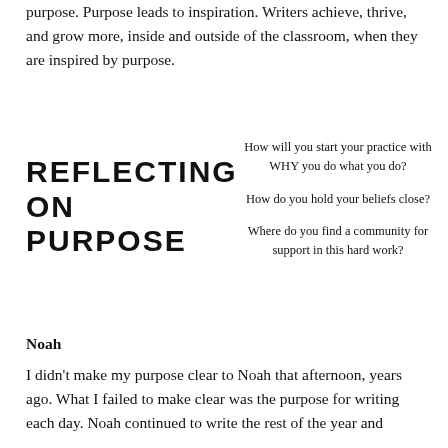purpose. Purpose leads to inspiration. Writers achieve, thrive, and grow more, inside and outside of the classroom, when they are inspired by purpose.
[Figure (other): Large bold uppercase text reading REFLECTING ON PURPOSE displayed in heavy sans-serif font]
How will you start your practice with WHY you do what you do?
How do you hold your beliefs close?
Where do you find a community for support in this hard work?
Noah
I didn't make my purpose clear to Noah that afternoon, years ago. What I failed to make clear was the purpose for writing each day. Noah continued to write the rest of the year and